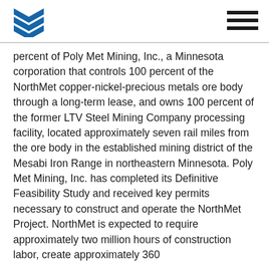[Logo: Poly Met Mining] [Navigation menu icon]
percent of Poly Met Mining, Inc., a Minnesota corporation that controls 100 percent of the NorthMet copper-nickel-precious metals ore body through a long-term lease, and owns 100 percent of the former LTV Steel Mining Company processing facility, located approximately seven rail miles from the ore body in the established mining district of the Mesabi Iron Range in northeastern Minnesota. Poly Met Mining, Inc. has completed its Definitive Feasibility Study and received key permits necessary to construct and operate the NorthMet Project. NorthMet is expected to require approximately two million hours of construction labor, create approximately 360